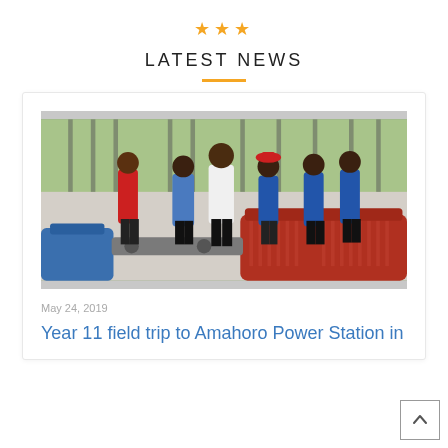[Figure (illustration): Three orange/gold star icons centered at top of page]
LATEST NEWS
[Figure (photo): Group of students and a teacher or guide examining industrial machinery (blue and red generators/turbines) inside a power station building. Trees visible through windows in background. People wearing casual and school attire.]
May 24, 2019
Year 11 field trip to Amahoro Power Station in